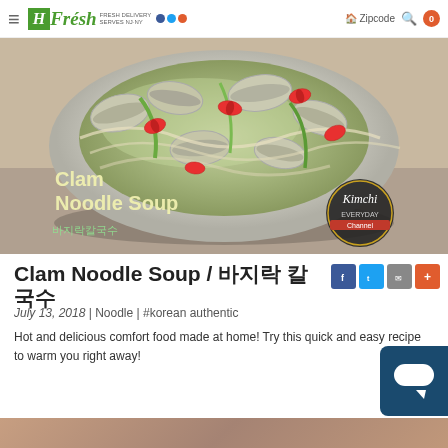H Fresh - Zipcode search, cart 0
[Figure (photo): Clam Noodle Soup in a white bowl with clams, noodles, green onions, and red chili slices in a clear broth. Text overlay reads 'Clam Noodle Soup / 바지락칼국수' with a Kimchi Everyday logo badge.]
Clam Noodle Soup / 바지락 칼국수
July 13, 2018  |  Noodle  |  #korean authentic
Hot and delicious comfort food made at home! Try this quick and easy recipe to warm you right away!